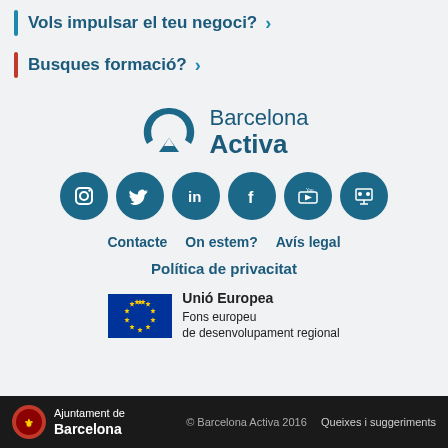Vols impulsar el teu negoci? >
Busques formació? >
[Figure (logo): Barcelona Activa logo with stylized A icon in dark teal]
[Figure (infographic): Six social media icons (Instagram, Twitter, LinkedIn, Facebook, YouTube, and another) as teal circles with white symbols]
Contacte   On estem?   Avís legal
Política de privacitat
[Figure (logo): European Union flag logo with text: Unió Europea Fons europeu de desenvolupament regional]
Ajuntament de Barcelona   © Barcelona Activa 2016   Queixes i suggeriments